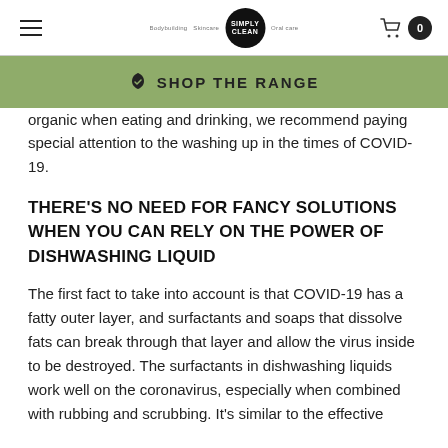Simply Clean — Shop the Range
organic when eating and drinking, we recommend paying special attention to the washing up in the times of COVID-19.
THERE'S NO NEED FOR FANCY SOLUTIONS WHEN YOU CAN RELY ON THE POWER OF DISHWASHING LIQUID
The first fact to take into account is that COVID-19 has a fatty outer layer, and surfactants and soaps that dissolve fats can break through that layer and allow the virus inside to be destroyed. The surfactants in dishwashing liquids work well on the coronavirus, especially when combined with rubbing and scrubbing. It's similar to the effective